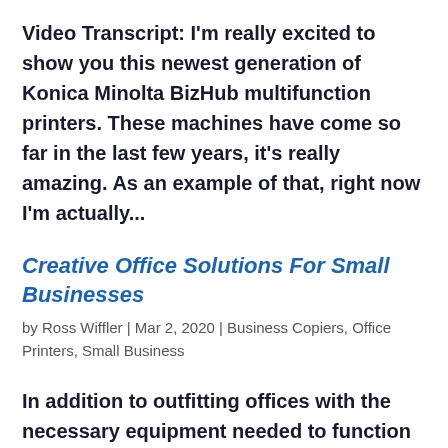Video Transcript: I'm really excited to show you this newest generation of Konica Minolta BizHub multifunction printers. These machines have come so far in the last few years, it's really amazing. As an example of that, right now I'm actually...
Creative Office Solutions For Small Businesses
by Ross Wiffler | Mar 2, 2020 | Business Copiers, Office Printers, Small Business
In addition to outfitting offices with the necessary equipment needed to function properly, small businesses are often faced with space constraints. Workspaces can often be cramped